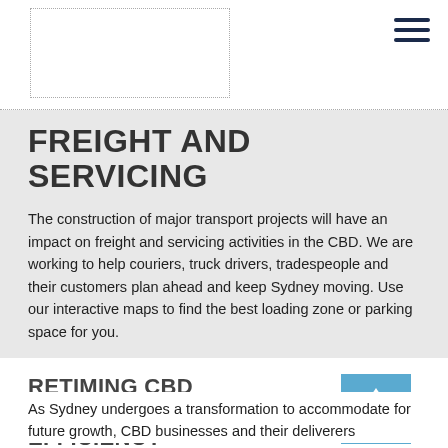FREIGHT AND SERVICING
The construction of major transport projects will have an impact on freight and servicing activities in the CBD. We are working to help couriers, truck drivers, tradespeople and their customers plan ahead and keep Sydney moving. Use our interactive maps to find the best loading zone or parking space for you.
RETIMING CBD DELIVERIES TO INCREASE EFFICIENCY
As Sydney undergoes a transformation to accommodate for future growth, CBD businesses and their deliverers